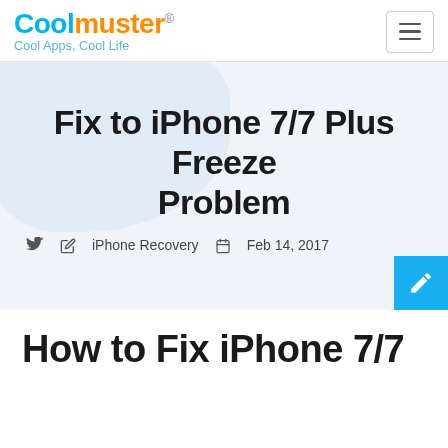Coolmuster® Cool Apps, Cool Life
Fix to iPhone 7/7 Plus Freeze Problem
iPhone Recovery  Feb 14, 2017
How to Fix iPhone 7/7